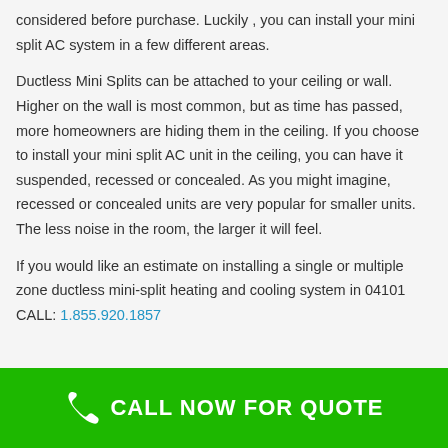considered before purchase. Luckily , you can install your mini split AC system in a few different areas.
Ductless Mini Splits can be attached to your ceiling or wall. Higher on the wall is most common, but as time has passed, more homeowners are hiding them in the ceiling. If you choose to install your mini split AC unit in the ceiling, you can have it suspended, recessed or concealed. As you might imagine, recessed or concealed units are very popular for smaller units. The less noise in the room, the larger it will feel.
If you would like an estimate on installing a single or multiple zone ductless mini-split heating and cooling system in 04101 CALL: 1.855.920.1857
CALL NOW FOR QUOTE